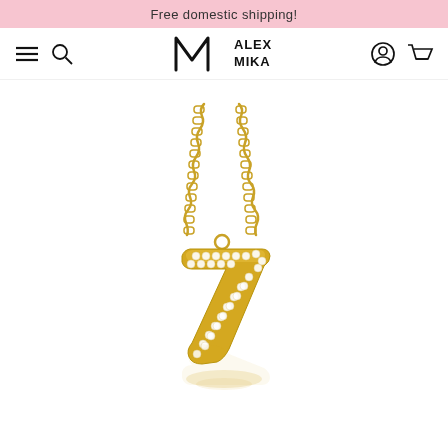Free domestic shipping!
[Figure (logo): Alex Mika logo with stylized AM monogram and text ALEX MIKA]
[Figure (photo): Gold chain necklace with a diamond-encrusted number 7 pendant, shown with a subtle reflection below]